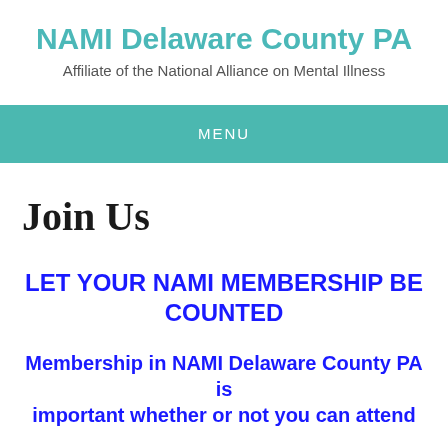NAMI Delaware County PA
Affiliate of the National Alliance on Mental Illness
MENU
Join Us
LET YOUR NAMI MEMBERSHIP BE COUNTED
Membership in NAMI Delaware County PA is important whether or not you can attend